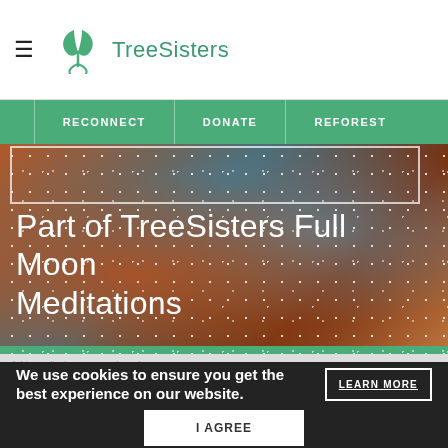TreeSisters
RECONNECT | DONATE | REFOREST
[Figure (photo): Cosmic/starry nebula background image with warm orange and cool blue tones, used as hero banner background for TreeSisters Full Moon Meditations]
Part of TreeSisters Full Moon Meditations
We use cookies to ensure you get the best experience on our website.
LEARN MORE
I AGREE